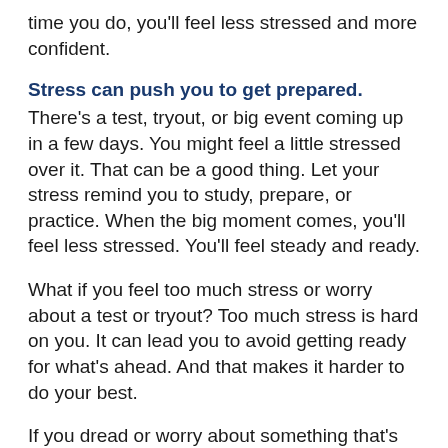time you do, you'll feel less stressed and more confident.
Stress can push you to get prepared.
There's a test, tryout, or big event coming up in a few days. You might feel a little stressed over it. That can be a good thing. Let your stress remind you to study, prepare, or practice. When the big moment comes, you'll feel less stressed. You'll feel steady and ready.
What if you feel too much stress or worry about a test or tryout? Too much stress is hard on you. It can lead you to avoid getting ready for what's ahead. And that makes it harder to do your best.
If you dread or worry about something that's coming up, or if you feel butterflies in your stomach just thinking about it, talk to an adult. Ask a parent, teacher